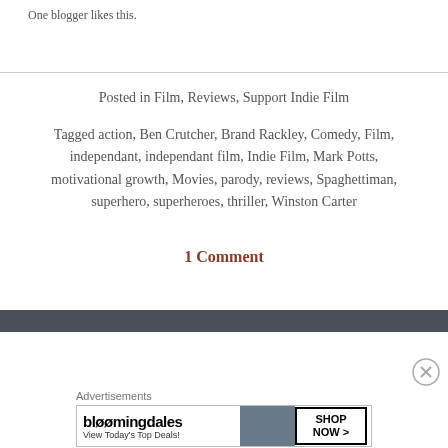One blogger likes this.
Posted in Film, Reviews, Support Indie Film
Tagged action, Ben Crutcher, Brand Rackley, Comedy, Film, independant, independant film, Indie Film, Mark Potts, motivational growth, Movies, parody, reviews, Spaghettiman, superhero, superheroes, thriller, Winston Carter
1 Comment
Advertisements
[Figure (other): Bloomingdales advertisement banner: bloomingdales logo, View Today's Top Deals!, SHOP NOW > button, woman with hat]